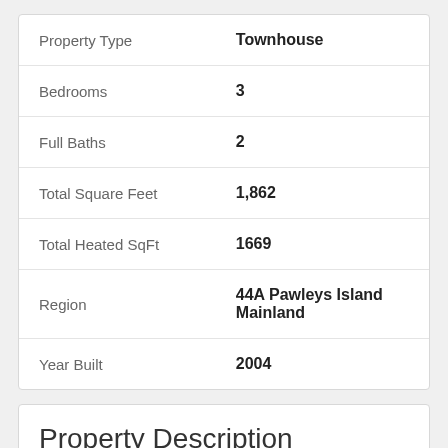| Property | Value |
| --- | --- |
| Property Type | Townhouse |
| Bedrooms | 3 |
| Full Baths | 2 |
| Total Square Feet | 1,862 |
| Total Heated SqFt | 1669 |
| Region | 44A Pawleys Island Mainland |
| Year Built | 2004 |
Property Description
There's only one way to see what makes this townhouse stand out over other similar ones. Come